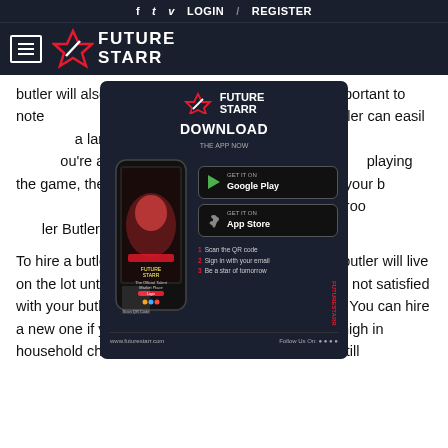f  t  v  LOGIN  /  REGISTER
[Figure (logo): Future Starr logo with hamburger menu on dark background]
butler will also se... However, it is important to note... A person with a butler can easily... a large garden. Butlers will also ta... you're away, such as playing the co... playing the game, the butler w... the bar. Otherwise, your b... ssed when a Sim walks into the roo... ter Butler has been chatting up the butler.
[Figure (screenshot): Future Starr app download modal with phone mockup, Google Play and App Store buttons, QR code steps, and www.futurestarr.com footer]
To hire a butler, you must have an empty bed. The butler will live on the lot until you dismiss him or her. But if you are not satisfied with your butler, you can always dismiss him or her. You can hire a new one if you want to. The Butler's skills will be high in household chores and entertainment, but you can still